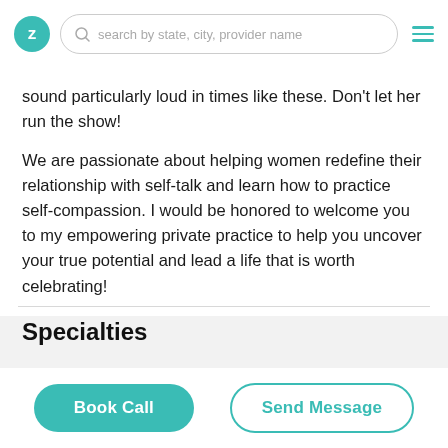Z | search by state, city, provider name
sound particularly loud in times like these. Don't let her run the show!
We are passionate about helping women redefine their relationship with self-talk and learn how to practice self-compassion. I would be honored to welcome you to my empowering private practice to help you uncover your true potential and lead a life that is worth celebrating!
Specialties
Book Call | Send Message